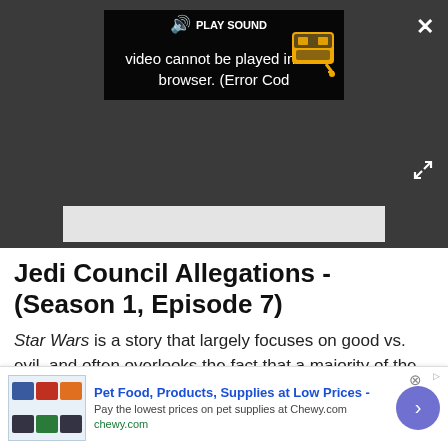[Figure (screenshot): Video player showing error: 'Video cannot be played in this browser. (Error Cod' with a robot/delivery icon in yellow, speaker/sound icon, close button (X), expand button, on dark background]
[Figure (screenshot): Gray placeholder/spacer area below the video player]
Jedi Council Allegations - (Season 1, Episode 7)
Star Wars is a story that largely focuses on good vs. evil, and often overlooks the fact that a majority of the real-world falls somewhere in between. That's not the
[Figure (screenshot): Advertisement banner for Chewy.com: 'Pet Food, Products, Supplies at Low Prices - Pay the lowest prices on pet supplies at Chewy.com' with chewy.com domain and navigation arrow button]